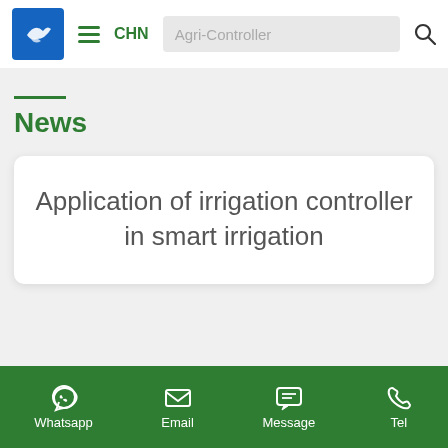[Figure (logo): Blue square logo with white bird/fish icon]
CHN  Agri-Controller
News
Application of irrigation controller in smart irrigation
Whatsapp  Email  Message  Tel